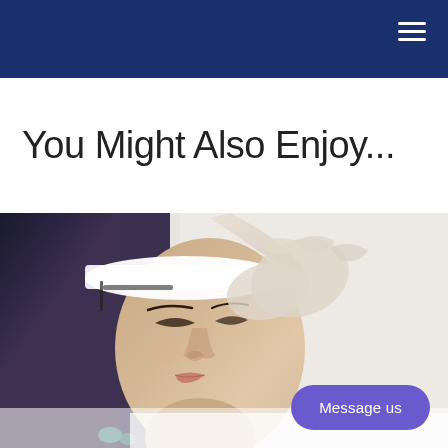You Might Also Enjoy...
[Figure (photo): Woman lying down receiving a facial treatment, eyes closed, wearing a white headband, with a gloved hand gently touching her face in a spa/medical aesthetic setting.]
Message us